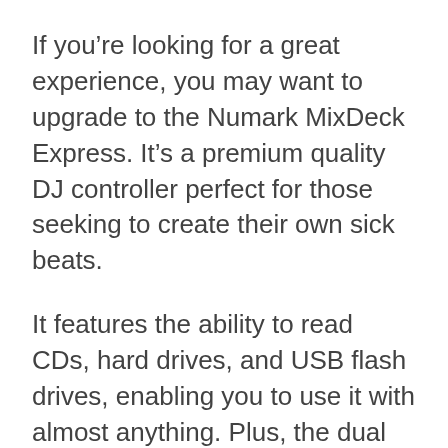If you’re looking for a great experience, you may want to upgrade to the Numark MixDeck Express. It’s a premium quality DJ controller perfect for those seeking to create their own sick beats.
It features the ability to read CDs, hard drives, and USB flash drives, enabling you to use it with almost anything. Plus, the dual touch-sensitive platters make it easier to express your style and change up the sound. Each of the beats will fast match using the Automatic BPM Analyzer, never making you lag behind the beat.
Lastly, the external inputs can be paired with